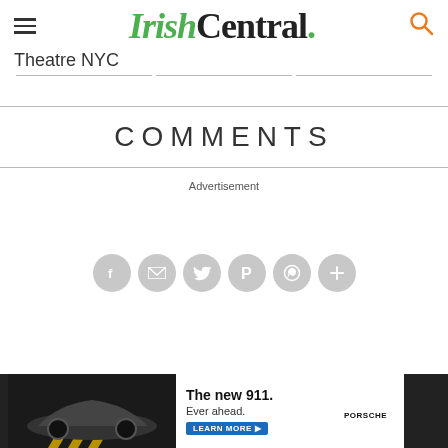IrishCentral.
Theatre NYC
COMMENTS
Advertisement
[Figure (infographic): Social sharing buttons: Facebook, Email, Twitter, Pinterest, WhatsApp, More]
[Figure (infographic): Porsche advertisement banner - The new 911. Ever ahead. Learn More. Car image on dark background.]